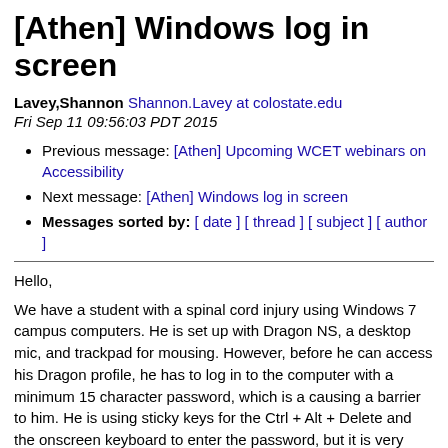[Athen] Windows log in screen
Lavey,Shannon Shannon.Lavey at colostate.edu
Fri Sep 11 09:56:03 PDT 2015
Previous message: [Athen] Upcoming WCET webinars on Accessibility
Next message: [Athen] Windows log in screen
Messages sorted by: [ date ] [ thread ] [ subject ] [ author ]
Hello,
We have a student with a spinal cord injury using Windows 7 campus computers. He is set up with Dragon NS, a desktop mic, and trackpad for mousing. However, before he can access his Dragon profile, he has to log in to the computer with a minimum 15 character password, which is a causing a barrier to him. He is using sticky keys for the Ctrl + Alt + Delete and the onscreen keyboard to enter the password, but it is very time consuming. We thought about having an auto log in computer, but we're concerned with security issues. We're also exploring the idea of X Keys to program his password. Has anyone found a good solution to this? We are open to any ideas and tips!